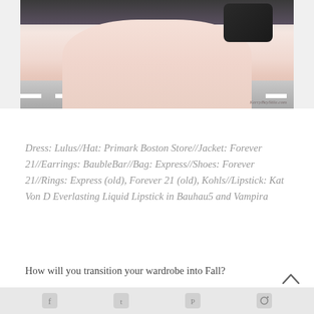[Figure (photo): Fashion blog photo showing lower half of outfit: light pink flowy dress/skirt, black jacket, black structured bag, taken outdoors near a road/crosswalk. Watermark reads KerryBeyStile.com in bottom right.]
Dress: Lulus//Hat: Primark Boston Store//Jacket: Forever 21//Earrings: BaubleBar//Bag: Express//Shoes: Forever 21//Rings: Express (old), Forever 21 (old), Kohls//Lipstick: Kat Von D Everlasting Liquid Lipstick in Bauhau5 and Vampira
How will you transition your wardrobe into Fall?
[social media icons row]